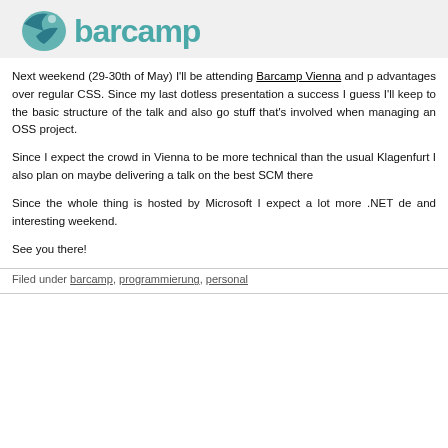[Figure (logo): Barcamp logo with a bird/flame icon in teal and the text 'barcamp' in large teal letters on a light gray background]
Next weekend (29-30th of May) I'll be attending Barcamp Vienna and p… advantages over regular CSS. Since my last dotless presentation a… success I guess I'll keep to the basic structure of the talk and also go… stuff that's involved when managing an OSS project.
Since I expect the crowd in Vienna to be more technical than the usual… Klagenfurt I also plan on maybe delivering a talk on the best SCM there…
Since the whole thing is hosted by Microsoft I expect a lot more .NET de… and interesting weekend.
See you there!
Filed under barcamp, programmierung, personal